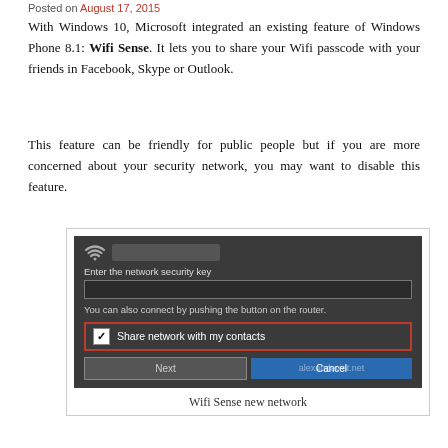Posted on August 17, 2015
With Windows 10, Microsoft integrated an existing feature of Windows Phone 8.1: Wifi Sense. It lets you to share your Wifi passcode with your friends in Facebook, Skype or Outlook.
This feature can be friendly for public people but if you are more concerned about your security network, you may want to disable this feature.
[Figure (screenshot): Windows 10 WiFi connection dialog showing 'Enter the network security key' input field with 'Share network with my contacts' checkbox highlighted in red, and Next/Cancel buttons. Watermark: alexandeviot.net]
Wifi Sense new network